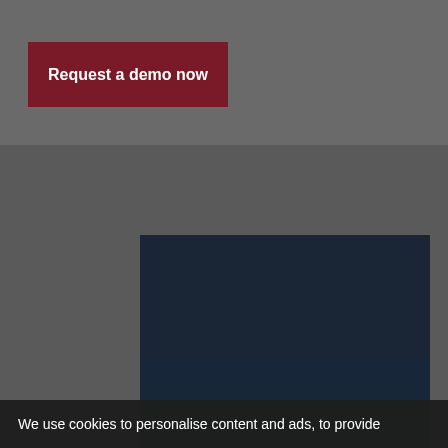Request a demo now
[Figure (other): Loading spinner / donut circle indicator in grey]
[Figure (other): REFF WALL STREET 22 advertisement banner. September 14 & 15, 2022. The Westin New York, Times Square. Tagline: Accelerating deals across renewable energy projects.]
We use cookies to personalise content and ads, to provide